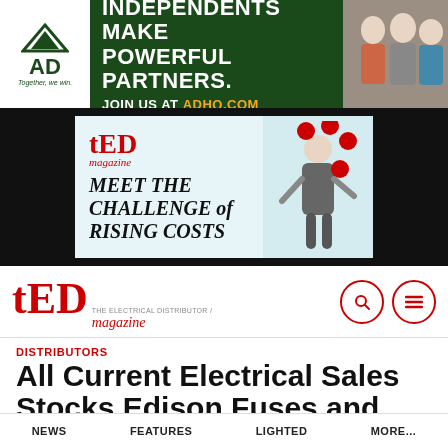[Figure (infographic): AD (Affiliated Distributors) banner advertisement: dark green background with white AD logo on left, bold white text 'INDEPENDENTS MAKE POWERFUL PARTNERS. JOIN US AT ADHQ.COM' with ADHQ.COM in orange, and photo of people on right.]
[Figure (infographic): TED magazine advertisement on dark background: light blue box with TED magazine logo in red, headline 'MEET THE CHALLENGE of RISING COSTS' in black, and image of man juggling red balls.]
[Figure (logo): TED (The Electrical Distributor) magazine logo in red with search and menu icons.]
DISTRIBUTORS
All Current Electrical Sales Stocks Edison Fuses and Fuse Blocks
NEWS   FEATURES   LIGHTED   MORE...